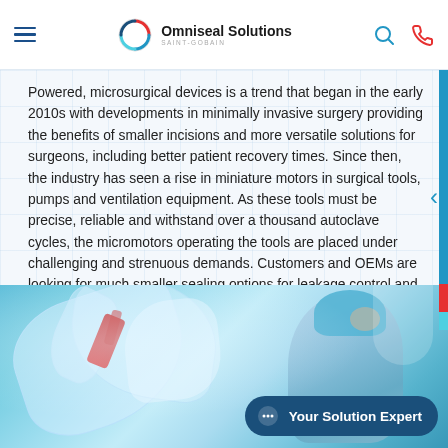Omniseal Solutions
Powered, microsurgical devices is a trend that began in the early 2010s with developments in minimally invasive surgery providing the benefits of smaller incisions and more versatile solutions for surgeons, including better patient recovery times. Since then, the industry has seen a rise in miniature motors in surgical tools, pumps and ventilation equipment. As these tools must be precise, reliable and withstand over a thousand autoclave cycles, the micromotors operating the tools are placed under challenging and strenuous demands. Customers and OEMs are looking for much smaller sealing options for leakage control and device protection.
[Figure (photo): Surgeon in blue surgical cap working with microsurgical robotic/power equipment draped in sterile plastic covering, viewed from below.]
Your Solution Expert